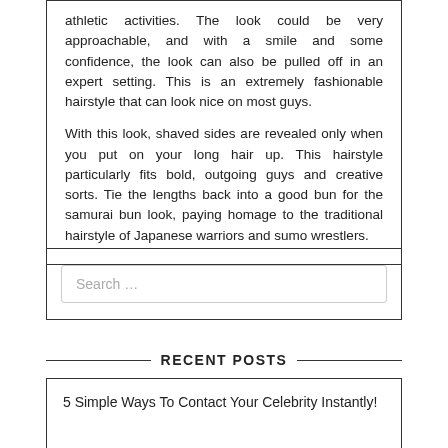athletic activities. The look could be very approachable, and with a smile and some confidence, the look can also be pulled off in an expert setting. This is an extremely fashionable hairstyle that can look nice on most guys.

With this look, shaved sides are revealed only when you put on your long hair up. This hairstyle particularly fits bold, outgoing guys and creative sorts. Tie the lengths back into a good bun for the samurai bun look, paying homage to the traditional hairstyle of Japanese warriors and sumo wrestlers.
Search ...
RECENT POSTS
5 Simple Ways To Contact Your Celebrity Instantly!